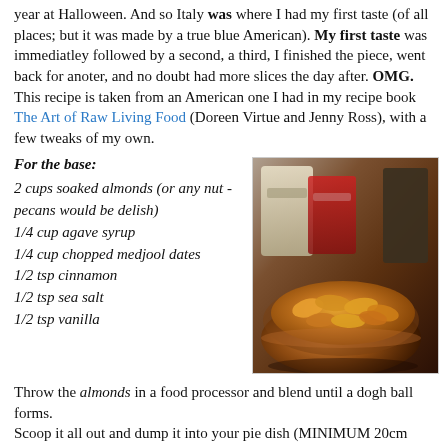year at Halloween. And so Italy was where I had my first taste (of all places; but it was made by a true blue American). My first taste was immediatley followed by a second, a third, I finished the piece, went back for anoter, and no doubt had more slices the day after. OMG. This recipe is taken from an American one I had in my recipe book The Art of Raw Living Food (Doreen Virtue and Jenny Ross), with a few tweaks of my own.
For the base:
2 cups soaked almonds (or any nut - pecans would be delish)
1/4 cup agave syrup
1/4 cup chopped medjool dates
1/2 tsp cinnamon
1/2 tsp sea salt
1/2 tsp vanilla
[Figure (photo): Photo of a copper/bronze bowl filled with soaked almonds, with bags of ingredients in the background on a dark surface.]
Throw the almonds in a food processor and blend until a dogh ball forms.
Scoop it all out and dump it into your pie dish (MINIMUM 20cm diameter). I pre-oiled mine with coconut oil to ensure easy removal